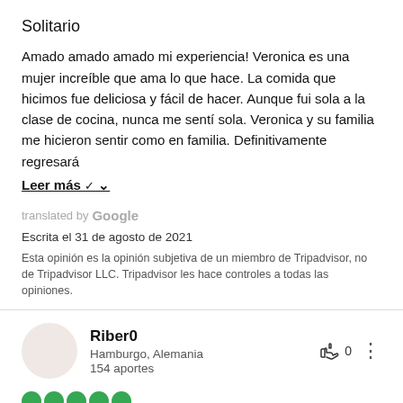Solitario
Amado amado amado mi experiencia! Veronica es una mujer increíble que ama lo que hace. La comida que hicimos fue deliciosa y fácil de hacer. Aunque fui sola a la clase de cocina, nunca me sentí sola. Veronica y su familia me hicieron sentir como en familia. Definitivamente regresará
Leer más ∨
translated by Google
Escrita el 31 de agosto de 2021
Esta opinión es la opinión subjetiva de un miembro de Tripadvisor, no de Tripadvisor LLC. Tripadvisor les hace controles a todas las opiniones.
Riber0
Hamburgo, Alemania
154 aportes
[Figure (other): Five green circles representing a 5-star rating]
Gran clase de cocina auténtica